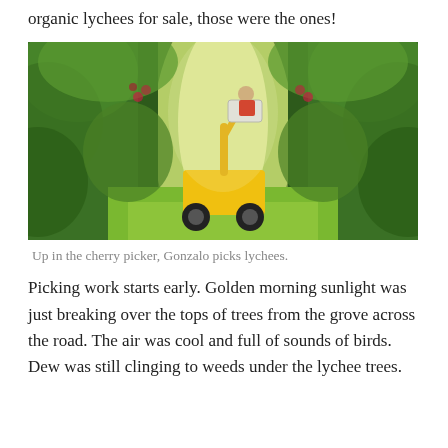organic lychees for sale, those were the ones!
[Figure (photo): A worker in a red shirt rides a yellow cherry picker / boom lift through a dense lychee grove. Sunlight filters through lush green tree canopy lining both sides of a grassy lane between the trees. The worker is positioned in the elevated bucket at the top of the lift arm, picking fruit from the trees.]
Up in the cherry picker, Gonzalo picks lychees.
Picking work starts early. Golden morning sunlight was just breaking over the tops of trees from the grove across the road. The air was cool and full of sounds of birds. Dew was still clinging to weeds under the lychee trees.